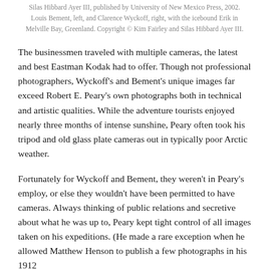Silas Hibbard Ayer III, published by University of New Mexico Press, 2002. Louis Bement, left, and Clarence Wyckoff, right, with the icebound Erik in Melville Bay, Greenland. Copyright © Kim Fairley and Silas Hibbard Ayer III.
The businessmen traveled with multiple cameras, the latest and best Eastman Kodak had to offer. Though not professional photographers, Wyckoff's and Bement's unique images far exceed Robert E. Peary's own photographs both in technical and artistic qualities. While the adventure tourists enjoyed nearly three months of intense sunshine, Peary often took his tripod and old glass plate cameras out in typically poor Arctic weather.
Fortunately for Wyckoff and Bement, they weren't in Peary's employ, or else they wouldn't have been permitted to have cameras. Always thinking of public relations and secretive about what he was up to, Peary kept tight control of all images taken on his expeditions. (He made a rare exception when he allowed Matthew Henson to publish a few photographs in his 1912